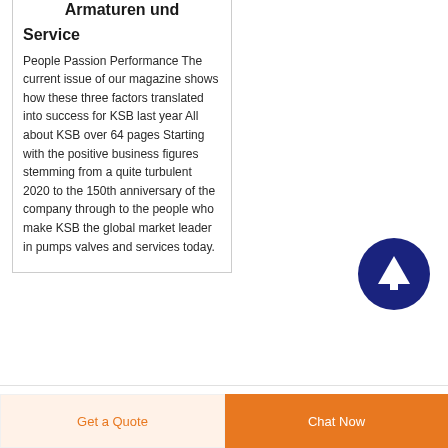Armaturen und Service
People Passion Performance The current issue of our magazine shows how these three factors translated into success for KSB last year All about KSB over 64 pages Starting with the positive business figures stemming from a quite turbulent 2020 to the 150th anniversary of the company through to the people who make KSB the global market leader in pumps valves and services today.
[Figure (other): Dark blue circular scroll-to-top button with white upward arrow icon]
[Figure (other): Bottom navigation bar with two buttons: 'Get a Quote' (light orange background, orange text) and 'Chat Now' (solid orange background, white text)]